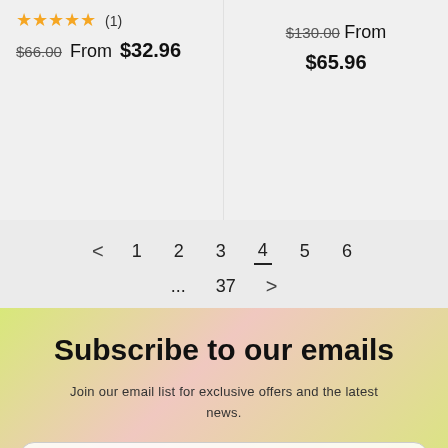★★★★★ (1) $66.00 From $32.96
$130.00 From $65.96
< 1 2 3 4 5 6 ... 37 >
Subscribe to our emails
Join our email list for exclusive offers and the latest news.
Email →